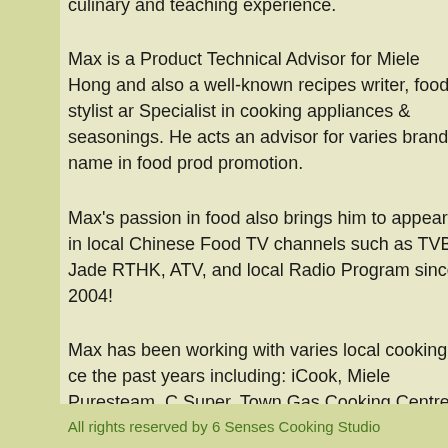culinary and teaching experience.
Max is a Product Technical Advisor for Miele Hong Kong and also a well-known recipes writer, food stylist and Specialist in cooking appliances & seasonings. He acts an advisor for varies brand name in food production promotion.
Max's passion in food also brings him to appear in local Chinese Food TV channels such as TVB Jade, RTHK, ATV, and local Radio Program since 2004!
Max has been working with varies local cooking centres the past years including: iCook, Miele Puresteam, CK Super, Town Gas Cooking Centre, China Light & Power Delight Centre, HK Electric Home Management Centre.
Max's skill has expanded in the past as the Promotion...
All rights reserved by 6 Senses Cooking Studio